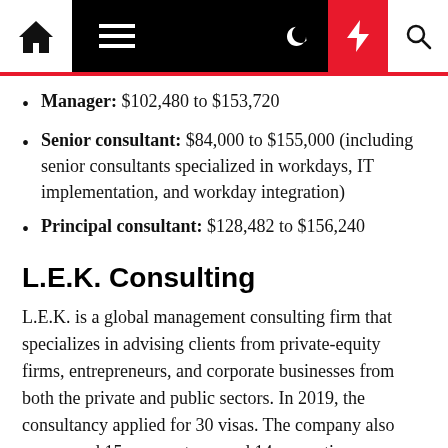Navigation bar with home, menu, moon, bolt, and search icons
Manager: $102,480 to $153,720
Senior consultant: $84,000 to $155,000 (including senior consultants specialized in workdays, IT implementation, and workday integration)
Principal consultant: $128,482 to $156,240
L.E.K. Consulting
L.E.K. is a global management consulting firm that specializes in advising clients from private-equity firms, entrepreneurs, and corporate businesses from both the private and public sectors. In 2019, the consultancy applied for 30 visas. The company also announced 15 new partners and 14 promotions.